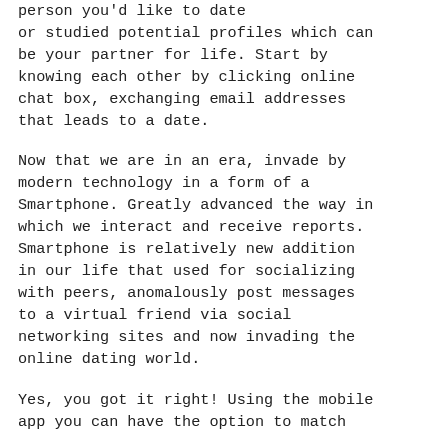person you'd like to date or studied potential profiles which can be your partner for life. Start by knowing each other by clicking online chat box, exchanging email addresses that leads to a date.
Now that we are in an era, invade by modern technology in a form of a Smartphone. Greatly advanced the way in which we interact and receive reports. Smartphone is relatively new addition in our life that used for socializing with peers, anomalously post messages to a virtual friend via social networking sites and now invading the online dating world.
Yes, you got it right! Using the mobile app you can have the option to match